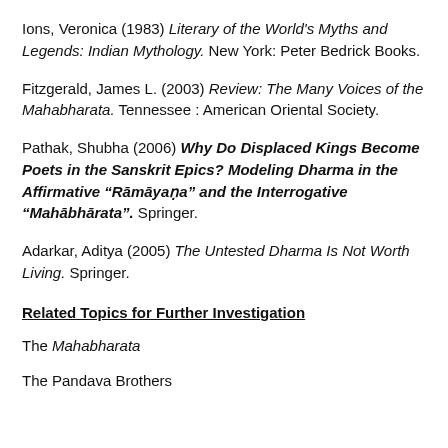Ions, Veronica (1983) Literary of the World's Myths and Legends: Indian Mythology. New York: Peter Bedrick Books.
Fitzgerald, James L. (2003) Review: The Many Voices of the Mahabharata. Tennessee : American Oriental Society.
Pathak, Shubha (2006) Why Do Displaced Kings Become Poets in the Sanskrit Epics? Modeling Dharma in the Affirmative “Rāmāyaṇa” and the Interrogative “Mahābhārata”. Springer.
Adarkar, Aditya (2005) The Untested Dharma Is Not Worth Living. Springer.
Related Topics for Further Investigation
The Mahabharata
The Pandava Brothers